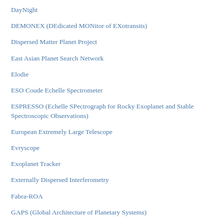DayNight
DEMONEX (DEdicated MONitor of EXotransits)
Dispersed Matter Planet Project
East Asian Planet Search Network
Elodie
ESO Coude Echelle Spectrometer
ESPRESSO (Echelle SPectrograph for Rocky Exoplanet and Stable Spectroscopic Observations)
European Extremely Large Telescope
Evryscope
Exoplanet Tracker
Externally Dispersed Interferometry
Fabra-ROA
GAPS (Global Architecture of Planetary Systems)
Gemini Planet Imager
GEMSS: Global Exoplanet M-dwarf Search-Survey